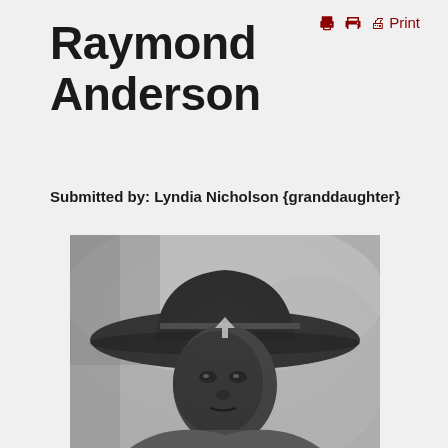Print
Raymond Anderson
Submitted by: Lyndia Nicholson {granddaughter}
[Figure (photo): Black and white photograph of Raymond Anderson wearing a wide-brimmed military hat, looking directly at the camera. The photo appears to be a historical military portrait.]